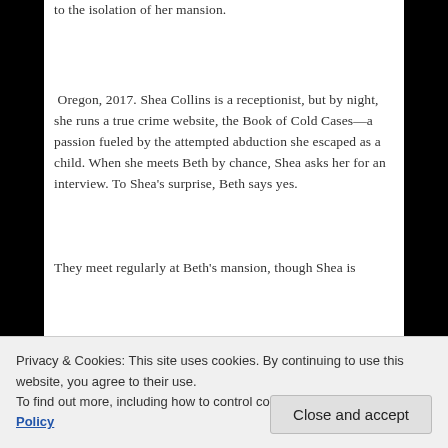to the isolation of her mansion.
Oregon, 2017. Shea Collins is a receptionist, but by night, she runs a true crime website, the Book of Cold Cases—a passion fueled by the attempted abduction she escaped as a child. When she meets Beth by chance, Shea asks her for an interview. To Shea's surprise, Beth says yes.
They meet regularly at Beth's mansion, though Shea is
murderer, or are there other dangers lurking in the
Privacy & Cookies: This site uses cookies. By continuing to use this website, you agree to their use.
To find out more, including how to control cookies, see here: Cookie Policy